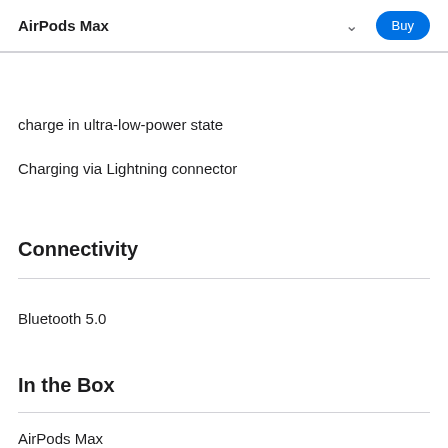AirPods Max
Storage in the Smart Case preserves battery
charge in ultra-low-power state
Charging via Lightning connector
Connectivity
Bluetooth 5.0
In the Box
AirPods Max
Smart Case